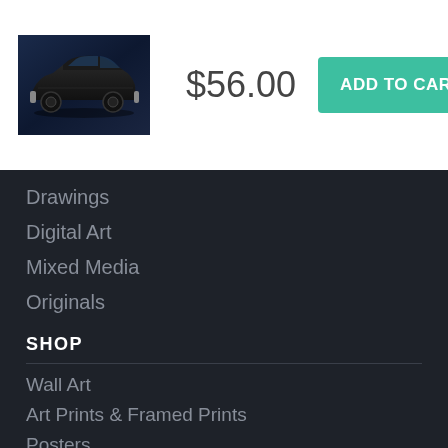[Figure (photo): Dark blue classic muscle car (side profile) on a dark gradient background]
$56.00
ADD TO CART
Drawings
Digital Art
Mixed Media
Originals
SHOP
Wall Art
Art Prints & Framed Prints
Posters
Tapestries
Home Decor
Lifestyle Products
iPhone Cases
Puzzles
Apparel
Gift Cards